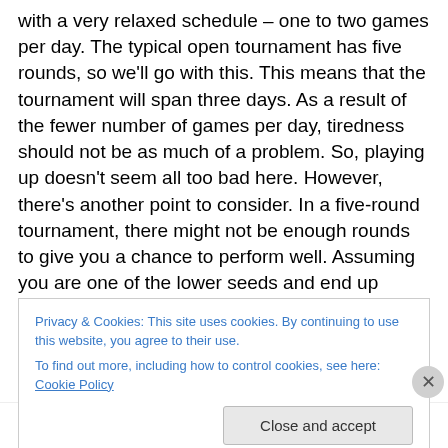with a very relaxed schedule – one to two games per day. The typical open tournament has five rounds, so we'll go with this. This means that the tournament will span three days. As a result of the fewer number of games per day, tiredness should not be as much of a problem. So, playing up doesn't seem all too bad here. However, there's another point to consider. In a five-round tournament, there might not be enough rounds to give you a chance to perform well. Assuming you are one of the lower seeds and end up losing the first couple of rounds, it will probably be around round 4 that you finally play
Privacy & Cookies: This site uses cookies. By continuing to use this website, you agree to their use.
To find out more, including how to control cookies, see here: Cookie Policy
Close and accept
Advertisements